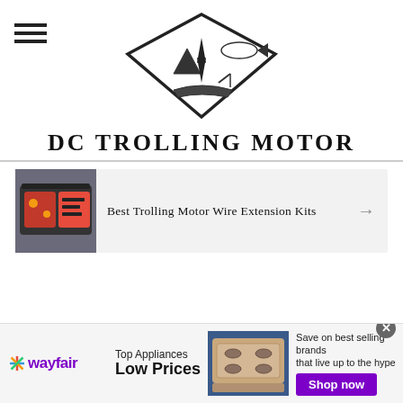[Figure (logo): DC Trolling Motor logo: diamond-shaped outline containing a tent/mountain, fish, and boat with trolling motor]
DC TROLLING MOTOR
[Figure (photo): Thumbnail image of fishing/trolling motor wire extension kit products with red and black tools]
Best Trolling Motor Wire Extension Kits →
[Figure (infographic): Wayfair advertisement banner: Top Appliances Low Prices, image of stove/range, Save on best selling brands that live up to the hype, Shop now button]